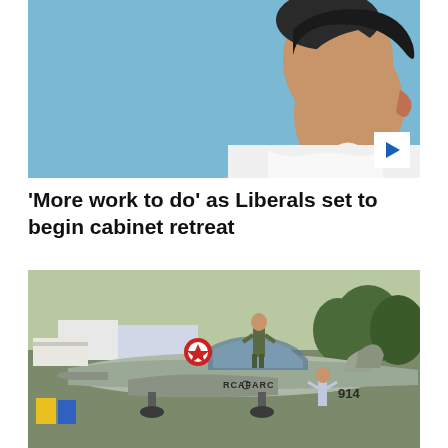[Figure (photo): Side profile of a man with dark hair wearing a white collared shirt against a light blue sky background. A white play button icon appears in the lower right corner of the image.]
'More work to do' as Liberals set to begin cabinet retreat
[Figure (photo): A grey military jet aircraft (RCAF ARC, number 914) on display outdoors. A person in an olive/khaki military uniform stands on top of the aircraft near the open cockpit canopy. A child stands on the ground nearby taking a photo. Trees and fairground/airshow infrastructure visible in the background.]